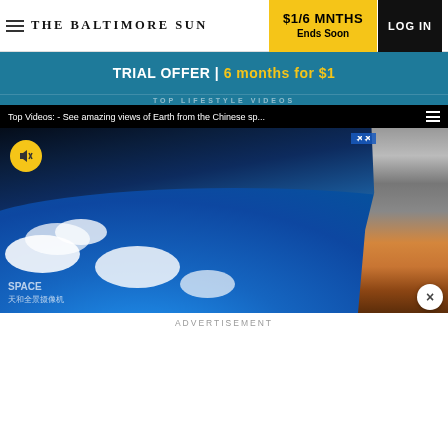THE BALTIMORE SUN | $1/6 MNTHS Ends Soon | LOG IN
TRIAL OFFER | 6 months for $1
TOP LIFESTYLE VIDEOS
[Figure (screenshot): Video player showing space station view of Earth from Chinese space station. Title bar reads: 'Top Videos: - See amazing views of Earth from the Chinese sp...' with hamburger menu icon. Video shows Earth from orbit with blue ocean, white clouds, and space station hardware visible on the right side. Yellow mute button visible in top left. Chinese text watermark at bottom left: 'SPACE 天和全景摄像机'. Logo in top right corner (blue badge).]
ADVERTISEMENT